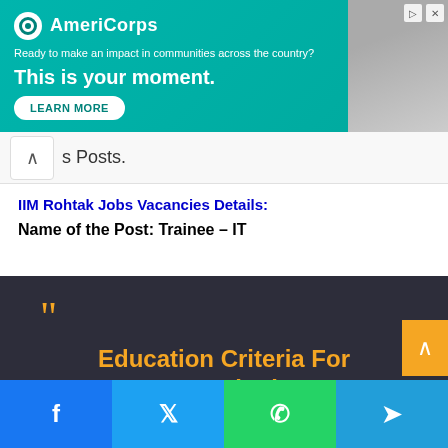[Figure (screenshot): AmeriCorps advertisement banner with teal/green background, logo, tagline 'Ready to make an impact in communities across the country?', headline 'This is your moment.', LEARN MORE button, and photo of person on right side]
s Posts.
IIM Rohtak Jobs Vacancies Details:
Name of the Post: Trainee – IT
[Figure (infographic): Dark background box with orange quote mark and orange bold text: Education Criteria For IIM Rohtak Recruitment:]